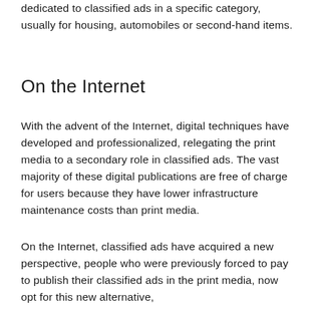dedicated to classified ads in a specific category, usually for housing, automobiles or second-hand items.
On the Internet
With the advent of the Internet, digital techniques have developed and professionalized, relegating the print media to a secondary role in classified ads. The vast majority of these digital publications are free of charge for users because they have lower infrastructure maintenance costs than print media.
On the Internet, classified ads have acquired a new perspective, people who were previously forced to pay to publish their classified ads in the print media, now opt for this new alternative,